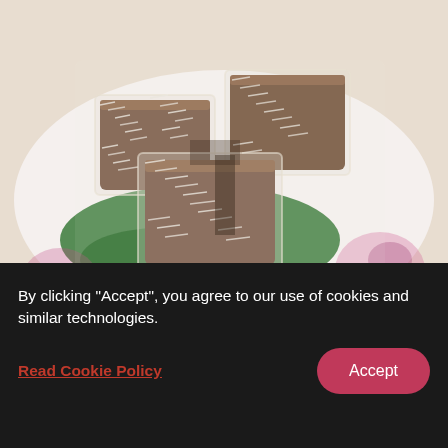[Figure (photo): Close-up photo of chewy jelly rectangles coated in shredded coconut (Kueh Kosui) on a floral-patterned plate with green banana leaf, photographed from above at an angle.]
Chewy jelly rectangles of gula melaka, or brown palm sugar Kueh Kosui. Picture: Kueh Ho Jiak
Kueh Ho Jiak
By clicking "Accept", you agree to our use of cookies and similar technologies.
Read Cookie Policy